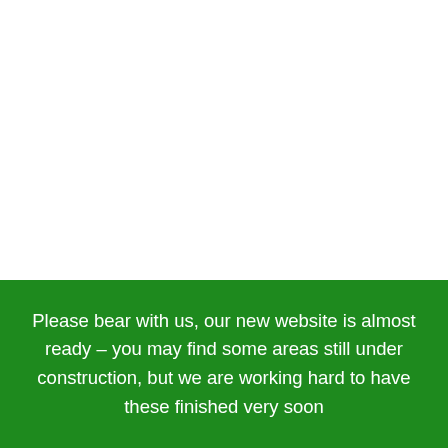Please bear with us, our new website is almost ready – you may find some areas still under construction, but we are working hard to have these finished very soon